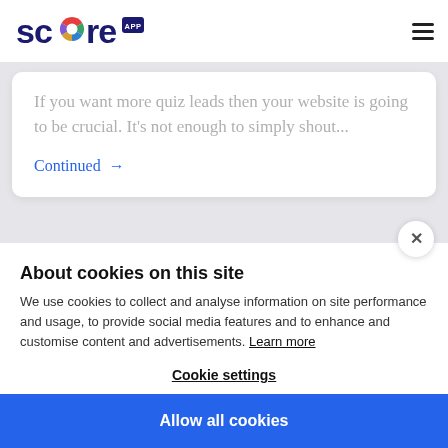Score App
If you want more quiz leads then your website is going to be crucial. It's not enough to simply shout...
Continued →
About cookies on this site
We use cookies to collect and analyse information on site performance and usage, to provide social media features and to enhance and customise content and advertisements. Learn more
Cookie settings
Allow all cookies